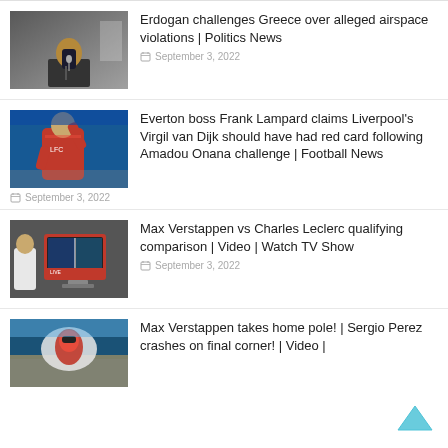[Figure (photo): Man in suit speaking at podium with microphone]
Erdogan challenges Greece over alleged airspace violations | Politics News
September 3, 2022
[Figure (photo): Football player in red Liverpool kit raising arm]
Everton boss Frank Lampard claims Liverpool's Virgil van Dijk should have had red card following Amadou Onana challenge | Football News
September 3, 2022
[Figure (photo): TV screen showing Formula 1 qualifying comparison broadcast]
Max Verstappen vs Charles Leclerc qualifying comparison | Video | Watch TV Show
September 3, 2022
[Figure (photo): Formula 1 race scene with crowd in background]
Max Verstappen takes home pole! | Sergio Perez crashes on final corner! | Video |